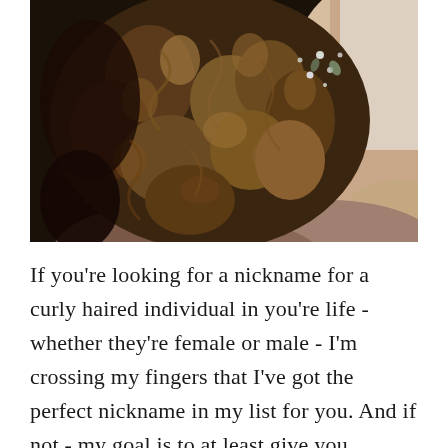[Figure (photo): Close-up photograph of the back of a woman's head with curly brown hair styled in an updo decorated with small decorative hair pins or flowers. She is wearing a light brown/mauve top. The background is slightly blurred.]
If you're looking for a nickname for a curly haired individual in you're life - whether they're female or male - I'm crossing my fingers that I've got the perfect nickname in my list for you. And if not - my goal is to at least give you enough ...